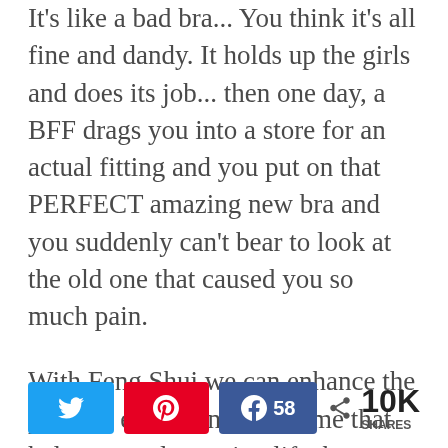It's like a bad bra... You think it's all fine and dandy. It holds up the girls and does its job... then one day, a BFF drags you into a store for an actual fitting and you put on that PERFECT amazing new bra and you suddenly can't bear to look at the old one that caused you so much pain.
With Feng Shui we can enhance the positive energy in your home that helps you relax, enjoy life, be inspired and dream.
[Figure (infographic): Social share bar with Twitter, Pinterest, Facebook (58 shares) buttons, and a total share count of 10K SHARES]